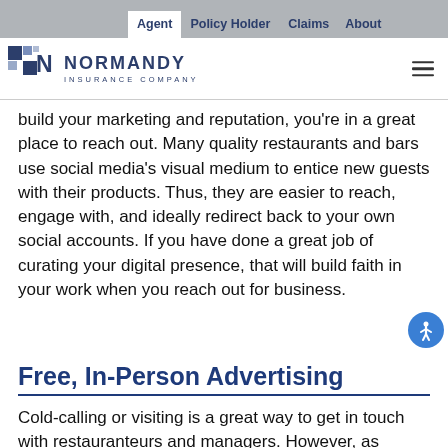Agent | Policy Holder | Claims | About
[Figure (logo): Normandy Insurance Company logo — blue and gray square mosaic icon with NORMANDY INSURANCE COMPANY text]
build your marketing and reputation, you're in a great place to reach out. Many quality restaurants and bars use social media's visual medium to entice new guests with their products. Thus, they are easier to reach, engage with, and ideally redirect back to your own social accounts. If you have done a great job of curating your digital presence, that will build faith in your work when you reach out for business.
Free, In-Person Advertising
Cold-calling or visiting is a great way to get in touch with restauranteurs and managers. However, as suggested, do the research and